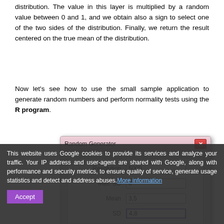distribution. The value in this layer is multiplied by a random value between 0 and 1, and we obtain also a sign to select one of the two sides of the distribution. Finally, we return the result centered on the true mean of the distribution.
Now let's see how to use the small sample application to generate random numbers and perform normality tests using the R program.
[Figure (screenshot): Screenshot of a 'Random Generator' dialog window with fields: Resolution=5000, Max. SD=6, Mean=3,5, SD=4,8, and a Random button. A cookie consent banner overlays the bottom of the screen with an Accept button and a 'More information' link.]